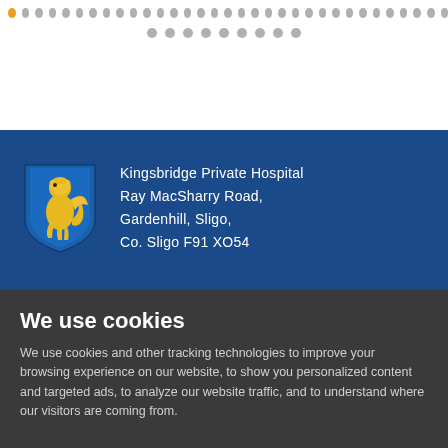[Figure (other): Navigation dots — one gold dot followed by many gray dots in a horizontal row, then a second row of gray dots centered below]
[Figure (logo): Kingsbridge Private Hospital logo: a heraldic shield in dark blue with a golden lion/griffin figure on it]
Kingsbridge Private Hospital
Ray MacSharry Road,
Gardenhill, Sligo,
Co. Sligo F91 XO54
We use cookies
We use cookies and other tracking technologies to improve your browsing experience on our website, to show you personalized content and targeted ads, to analyze our website traffic, and to understand where our visitors are coming from.